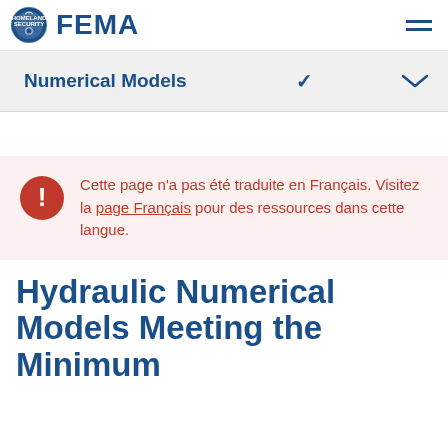FEMA
Numerical Models
Cette page n'a pas été traduite en Français. Visitez la page Français pour des ressources dans cette langue.
Hydraulic Numerical Models Meeting the Minimum